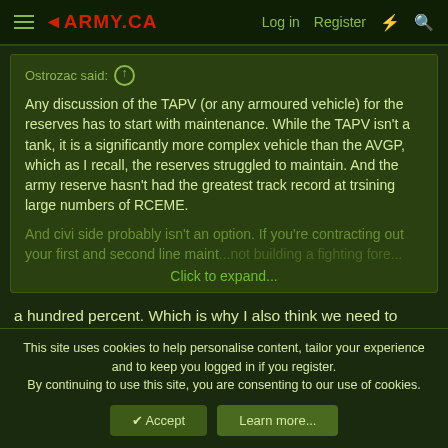◄ARMY.CA   Log in   Register
Ostrozac said: ↑
Any discussion of the TAPV (or any armoured vehicle) for the reserves has to start with maintenance. While the TAPV isn't a tank, it is a significantly more complex vehicle than the AVGP, which as I recall, the reserves struggled to maintain. And the army reserve hasn't had the greatest track record at trsining large numbers of RCEME.

And civi side probably isn't an option. If you're contracting out your first and second line maint... not building a fighting force.
Click to expand...
a hundred percent. Which is why I also think we need to reimagine what a reserve unit looks like. In my force structure I included dispersed "support Bns" and I would see those being pushed out as much as possible to cast as wide a net as possible for getting folks into the reserve as RCEME and...
This site uses cookies to help personalise content, tailor your experience and to keep you logged in if you register.
By continuing to use this site, you are consenting to our use of cookies.